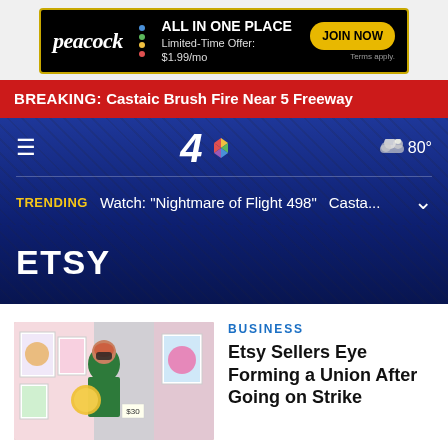[Figure (screenshot): Peacock advertisement banner: black background with gold border, Peacock logo, colorful dots, 'ALL IN ONE PLACE', 'Limited-Time Offer: $1.99/mo', JOIN NOW button]
BREAKING:  Castaic Brush Fire Near 5 Freeway
[Figure (screenshot): NBC4 website header with dark blue background, hamburger menu icon, NBC4 logo with peacock icon, weather widget showing cloud and 80°]
TRENDING  Watch: "Nightmare of Flight 498"  Casta...
ETSY
BUSINESS
[Figure (photo): Photo of a person wearing a green outfit and mask at an art fair, surrounded by colorful illustrations and artwork]
Etsy Sellers Eye Forming a Union After Going on Strike